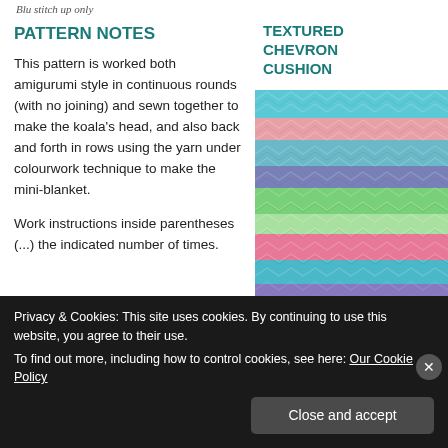Blu stitch up only
PATTERN NOTES
This pattern is worked both amigurumi style in continuous rounds (with no joining) and sewn together to make the koala’s head, and also back and forth in rows using the yarn under colourwork technique to make the mini-blanket.
Work instructions inside parentheses (...) the indicated number of times.
TEXTURED CHEVRON CUSHION
[Figure (photo): A colorful crocheted chevron cushion with zigzag stripes in pink, green, blue, turquoise, and purple colors.]
Privacy & Cookies: This site uses cookies. By continuing to use this website, you agree to their use.
To find out more, including how to control cookies, see here: Our Cookie Policy
Close and accept